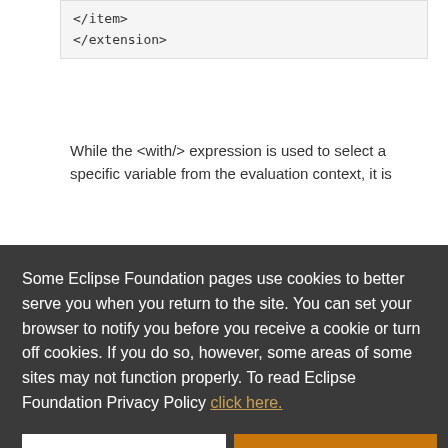</item>
</extension>
While the <with/> expression is used to select a specific variable from the evaluation context, it is
Some Eclipse Foundation pages use cookies to better serve you when you return to the site. You can set your browser to notify you before you receive a cookie or turn off cookies. If you do so, however, some areas of some sites may not function properly. To read Eclipse Foundation Privacy Policy click here.
IActionDelegate